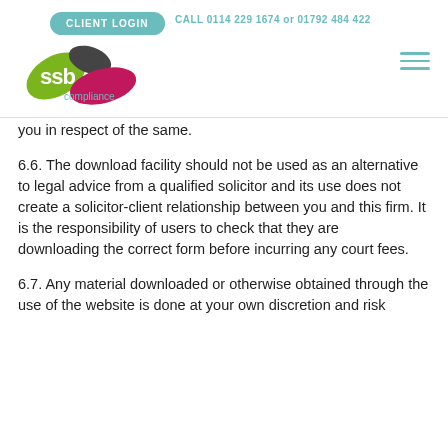[Figure (logo): SSB Compliance logo with three overlapping leaf/petal shapes in green, dark grey, and pink/magenta, with 'ssb' text in white and 'compliance' text in teal below]
CLIENT LOGIN   CALL 0114 229 1674 or 01792 484 422
you in respect of the same.
6.6. The download facility should not be used as an alternative to legal advice from a qualified solicitor and its use does not create a solicitor-client relationship between you and this firm. It is the responsibility of users to check that they are downloading the correct form before incurring any court fees.
6.7. Any material downloaded or otherwise obtained through the use of the website is done at your own discretion and risk